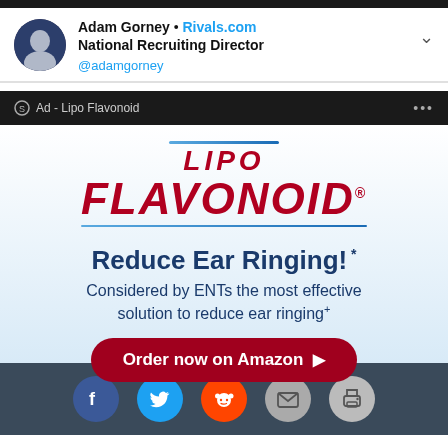Adam Gorney • Rivals.com
National Recruiting Director
@adamgorney
[Figure (screenshot): Lipo Flavonoid advertisement: Ad bar showing 'Ad - Lipo Flavonoid', large Lipo Flavonoid logo with blue lines, tagline 'Reduce Ear Ringing!*', subtext 'Considered by ENTs the most effective solution to reduce ear ringing+', red button 'Order now on Amazon']
[Figure (other): Social media share buttons: Facebook (blue), Twitter (blue), Reddit (orange), Email (gray), Print (gray)]